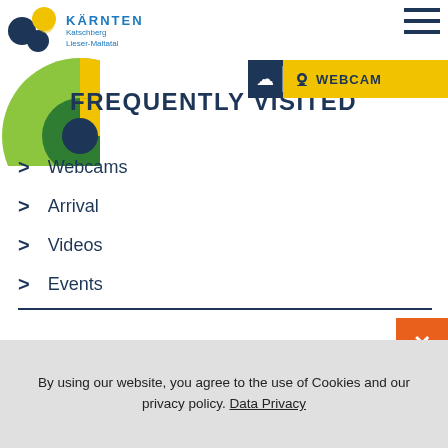[Figure (logo): Kärnten Katschberg Lieser-Maltatal logo with colorful K shape and text]
[Figure (illustration): Hamburger menu icon (three horizontal lines) in dark navy]
[Figure (illustration): Webcam button bar with cloud icon, divider, webcam icon and WEBCAM label on yellow background]
[Figure (illustration): Decorative circular graphic with green, yellow, dark blue segments]
FREQUENTLY VISITED
Webcams
Arrival
Videos
Events
SOCIAL MEDIA
By using our website, you agree to the use of Cookies and our privacy policy. Data Privacy